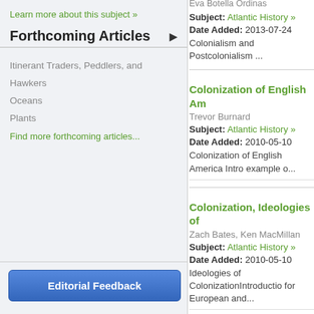Learn more about this subject »
Forthcoming Articles
Itinerant Traders, Peddlers, and Hawkers
Oceans
Plants
Find more forthcoming articles...
Editorial Feedback
Eva Botella Ordinas
Subject: Atlantic History »
Date Added: 2013-07-24
Colonialism and Postcolonialism ...
Colonization of English Am
Trevor Burnard
Subject: Atlantic History »
Date Added: 2010-05-10
Colonization of English America Intro example o...
Colonization, Ideologies of
Zach Bates, Ken MacMillan
Subject: Atlantic History »
Date Added: 2010-05-10
Ideologies of ColonizationIntroductio for European and...
Communications in the Atla
Thomas Wien
Subject: Atlantic History »